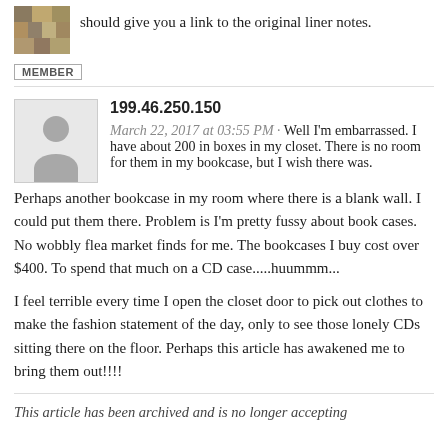should give you a link to the original liner notes.
MEMBER
199.46.250.150
March 22, 2017 at 03:55 PM · Well I'm embarrassed. I have about 200 in boxes in my closet. There is no room for them in my bookcase, but I wish there was. Perhaps another bookcase in my room where there is a blank wall. I could put them there. Problem is I'm pretty fussy about book cases. No wobbly flea market finds for me. The bookcases I buy cost over $400. To spend that much on a CD case.....huummm...
I feel terrible every time I open the closet door to pick out clothes to make the fashion statement of the day, only to see those lonely CDs sitting there on the floor. Perhaps this article has awakened me to bring them out!!!!
This article has been archived and is no longer accepting